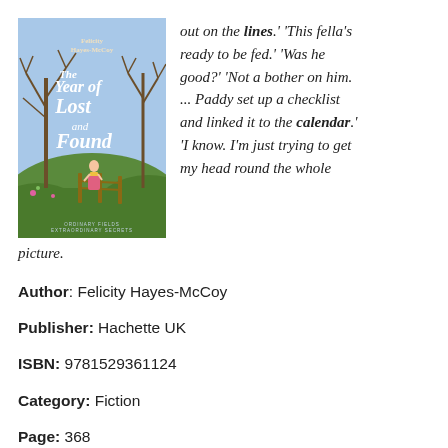[Figure (illustration): Book cover of 'The Year of Lost and Found' by Felicity Hayes-McCoy, showing a pastoral scene with a woman in a yellow top and pink skirt standing near a wooden fence, with bare trees and rolling green hills in a blue sky background.]
out on the lines.' 'This fella's ready to be fed.' 'Was he good?' 'Not a bother on him. ... Paddy set up a checklist and linked it to the calendar.' 'I know. I'm just trying to get my head round the whole picture.
Author: Felicity Hayes-McCoy
Publisher: Hachette UK
ISBN: 9781529361124
Category: Fiction
Page: 368
View: 748